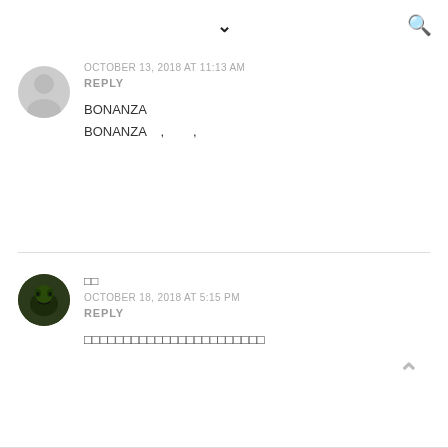▾  🔍
OCTOBER 13, 2018 AT 11:13 AM
REPLY
BONANZA
BONANZA   ,        ,
□□
OCTOBER 18, 2018 AT 5:15 PM
REPLY
□□□□□□□□□□□□□□□□□□□□□□□